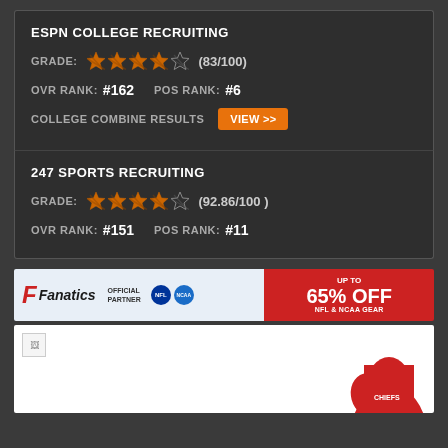ESPN COLLEGE RECRUITING
GRADE: ★★★★☆ (83/100)
OVR RANK: #162   POS RANK: #6
COLLEGE COMBINE RESULTS   VIEW >>
247 SPORTS RECRUITING
GRADE: ★★★★☆ (92.86/100)
OVR RANK: #151   POS RANK: #11
[Figure (infographic): Fanatics advertisement banner: OFFICIAL PARTNER NFL NCAA, UP TO 65% OFF NFL & NCAA GEAR]
[Figure (photo): Two broken image placeholders and partial view of a red sports shirt/jersey]